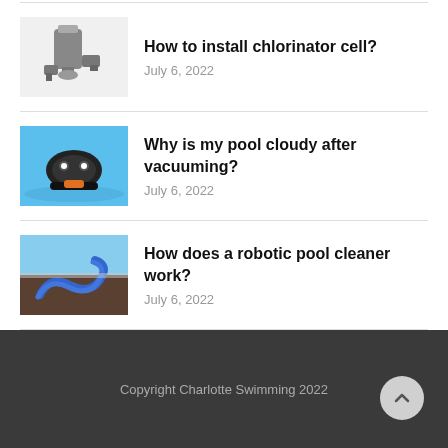How to install chlorinator cell? — July 6, 2022
Why is my pool cloudy after vacuuming? — July 6, 2022
How does a robotic pool cleaner work? — July 6, 2022
Copyright Charlotte Swimming 2022